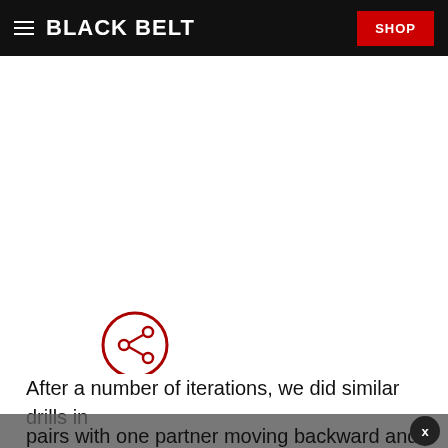BLACK BELT  SHOP
[Figure (other): White blank area (advertisement or image placeholder)]
[Figure (other): Share icon — circular button with share/network symbol, dark red outline]
After a number of iterations, we did similar drills in pairs with one partner moving backward and the other forward. One person had to throw a